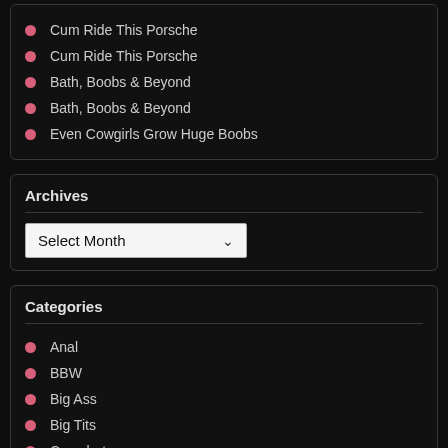Cum Ride This Porsche
Cum Ride This Porsche
Bath, Boobs & Beyond
Bath, Boobs & Beyond
Even Cowgirls Grow Huge Boobs
Archives
Select Month
Categories
Anal
BBW
Big Ass
Big Tits
Cumshot
Group Sex
Photo
POV
Solo